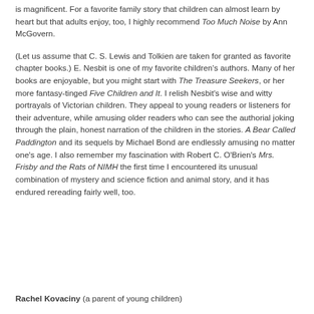is magnificent. For a favorite family story that children can almost learn by heart but that adults enjoy, too, I highly recommend Too Much Noise by Ann McGovern.
(Let us assume that C. S. Lewis and Tolkien are taken for granted as favorite chapter books.) E. Nesbit is one of my favorite children's authors. Many of her books are enjoyable, but you might start with The Treasure Seekers, or her more fantasy-tinged Five Children and It. I relish Nesbit's wise and witty portrayals of Victorian children. They appeal to young readers or listeners for their adventure, while amusing older readers who can see the authorial joking through the plain, honest narration of the children in the stories. A Bear Called Paddington and its sequels by Michael Bond are endlessly amusing no matter one's age. I also remember my fascination with Robert C. O'Brien's Mrs. Frisby and the Rats of NIMH the first time I encountered its unusual combination of mystery and science fiction and animal story, and it has endured rereading fairly well, too.
Rachel Kovaciny (a parent of young children)